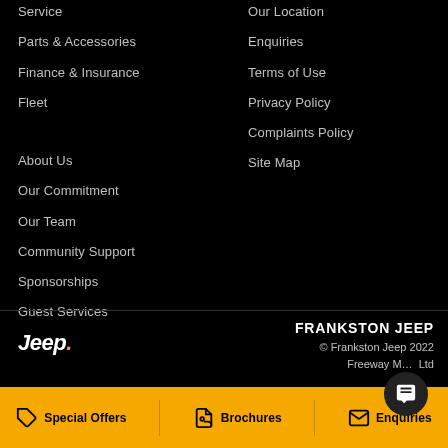Service
Parts & Accessories
Finance & Insurance
Fleet
About Us
Our Commitment
Our Team
Community Support
Sponsorships
Guest Services
Our Location
Enquiries
Terms of Use
Privacy Policy
Complaints Policy
Site Map
[Figure (logo): Jeep logo in white italic bold text with yellow dot]
FRANKSTON JEEP
© Frankston Jeep 2022
Freeway M... Ltd
Special Offers
Brochures
Enquiries